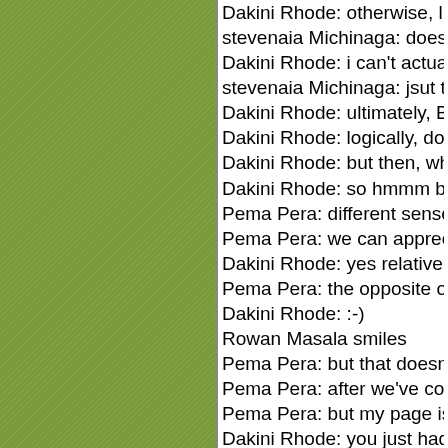[Figure (illustration): Green textured/woven background panel occupying the left half of the page]
Dakini Rhode: otherwise, life is like
stevenaia Michinaga: does being i
Dakini Rhode: i can't actually answ
stevenaia Michinaga: jsut thinking,
Dakini Rhode: ultimately, Being is
Dakini Rhode: logically, doing and
Dakini Rhode: but then, what i said
Dakini Rhode: so hmmm better no
Pema Pera: different sense in diffe
Pema Pera: we can appreciate ea
Dakini Rhode: yes relative and ulti
Pema Pera: the opposite of a grea
Dakini Rhode: :-)
Rowan Masala smiles
Pema Pera: but that doesn't mean
Pema Pera: after we've come on t
Pema Pera: but my page is almost
Dakini Rhode: you just had breakfa
Pema Pera: great seeing you here
Dakini Rhode: lol
stevenaia Michinaga: you go to the
Pema Pera: yes, Dakini, you keep